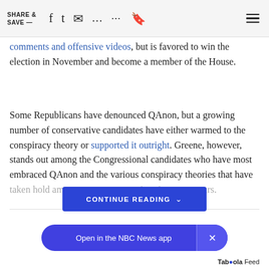SHARE & SAVE —
comments and offensive videos, but is favored to win the election in November and become a member of the House.
Some Republicans have denounced QAnon, but a growing number of conservative candidates have either warmed to the conspiracy theory or supported it outright. Greene, however, stands out among the Congressional candidates who have most embraced QAnon and the various conspiracy theories that have taken hold among some conservatives in recent years.
CONTINUE READING
Open in the NBC News app
Taboola Feed